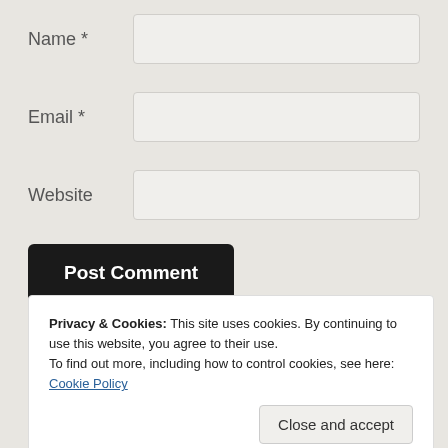Name *
Email *
Website
Post Comment
Privacy & Cookies: This site uses cookies. By continuing to use this website, you agree to their use.
To find out more, including how to control cookies, see here: Cookie Policy
Close and accept
This site uses Akismet to reduce spam. Learn how your comment data is processed.